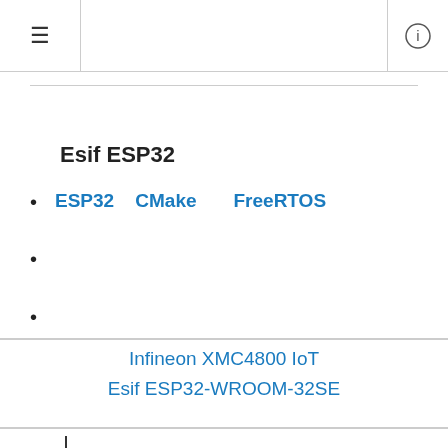≡  ⓘ
Esif ESP32
ESP32  CMake  FreeRTOS
Infineon XMC4800 IoT
Esif ESP32-WROOM-32SE